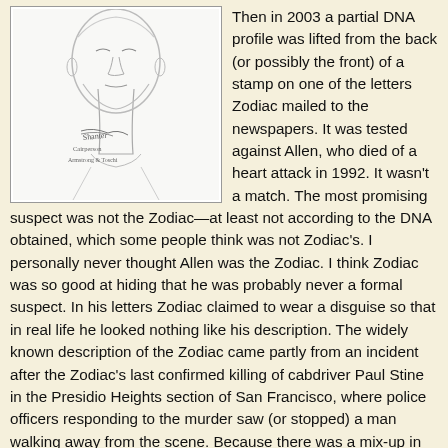[Figure (illustration): A pencil sketch police composite drawing of a male suspect's face and upper body, with a handwritten signature and text below reading 'Cairperson' and 'Armstrong & Toschi' style annotations.]
Then in 2003 a partial DNA profile was lifted from the back (or possibly the front) of a stamp on one of the letters Zodiac mailed to the newspapers. It was tested against Allen, who died of a heart attack in 1992. It wasn't a match. The most promising suspect was not the Zodiac—at least not according to the DNA obtained, which some people think was not Zodiac's. I personally never thought Allen was the Zodiac. I think Zodiac was so good at hiding that he was probably never a formal suspect. In his letters Zodiac claimed to wear a disguise so that in real life he looked nothing like his description. The widely known description of the Zodiac came partly from an incident after the Zodiac's last confirmed killing of cabdriver Paul Stine in the Presidio Heights section of San Francisco, where police officers responding to the murder saw (or stopped) a man walking away from the scene. Because there was a mix-up in the description of the suspect's race,